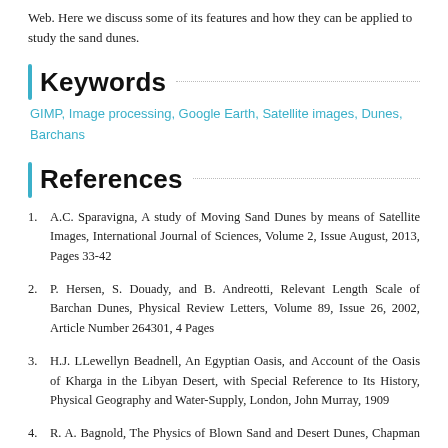Web. Here we discuss some of its features and how they can be applied to study the sand dunes.
Keywords
GIMP, Image processing, Google Earth, Satellite images, Dunes, Barchans
References
A.C. Sparavigna, A study of Moving Sand Dunes by means of Satellite Images, International Journal of Sciences, Volume 2, Issue August, 2013, Pages 33-42
P. Hersen, S. Douady, and B. Andreotti, Relevant Length Scale of Barchan Dunes, Physical Review Letters, Volume 89, Issue 26, 2002, Article Number 264301, 4 Pages
H.J. LLewellyn Beadnell, An Egyptian Oasis, and Account of the Oasis of Kharga in the Libyan Desert, with Special Reference to Its History, Physical Geography and Water-Supply, London, John Murray, 1909
R. A. Bagnold, The Physics of Blown Sand and Desert Dunes, Chapman and Hall, London, 1941